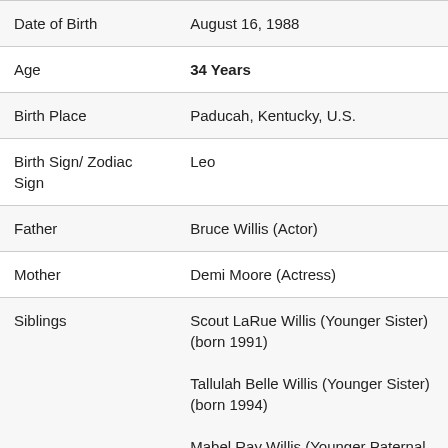| Field | Value |
| --- | --- |
| Date of Birth | August 16, 1988 |
| Age | 34 Years |
| Birth Place | Paducah, Kentucky, U.S. |
| Birth Sign/ Zodiac Sign | Leo |
| Father | Bruce Willis (Actor) |
| Mother | Demi Moore (Actress) |
| Siblings | Scout LaRue Willis (Younger Sister) (born 1991)

Tallulah Belle Willis (Younger Sister) (born 1994)

Mabel Ray Willis (Younger Paternal Half-Sister)

Evelyn Penn Willis (Younger... |